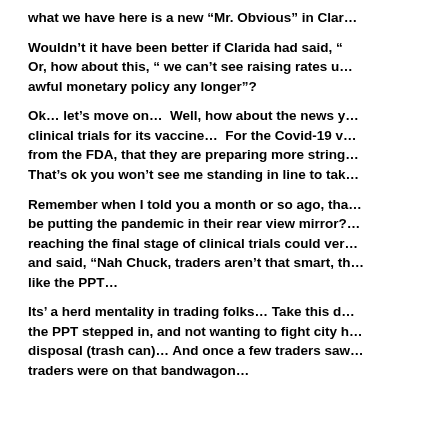what we have here is a new “Mr. Obvious” in Clar…
Wouldn’t it have been better if Clarida had said, “… Or, how about this, “ we can’t see raising rates u… awful monetary policy any longer”?
Ok… let’s move on…  Well, how about the news y… clinical trials for its vaccine…  For the Covid-19 v… from the FDA, that they are preparing more string… That’s ok you won’t see me standing in line to tak…
Remember when I told you a month or so ago, tha… be putting the pandemic in their rear view mirror?… reaching the final stage of clinical trials could ver… and said, “Nah Chuck, traders aren’t that smart, th… like the PPT…
Its’ a herd mentality in trading folks… Take this d… the PPT stepped in, and not wanting to fight city h… disposal (trash can)… And once a few traders saw… traders were on that bandwagon…